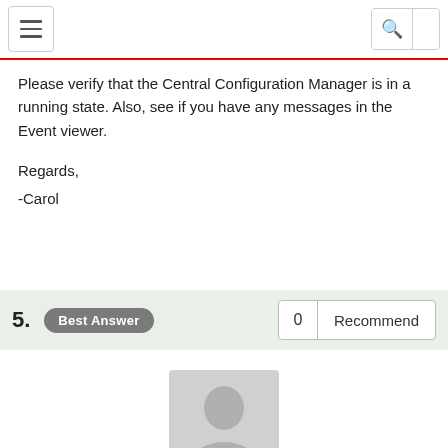[Navigation bar with hamburger menu and search icon]
Please verify that the Central Configuration Manager is in a running state. Also, see if you have any messages in the Event viewer.
Regards,
-Carol
5. Best Answer   0   Recommend
[Figure (photo): User avatar silhouette placeholder photo]
Mapirul Hak